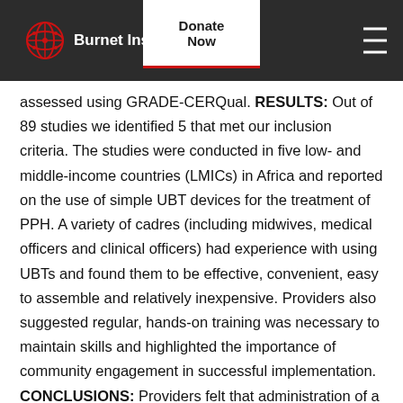Burnet Institute | Donate Now
assessed using GRADE-CERQual. RESULTS: Out of 89 studies we identified 5 that met our inclusion criteria. The studies were conducted in five low- and middle-income countries (LMICs) in Africa and reported on the use of simple UBT devices for the treatment of PPH. A variety of cadres (including midwives, medical officers and clinical officers) had experience with using UBTs and found them to be effective, convenient, easy to assemble and relatively inexpensive. Providers also suggested regular, hands-on training was necessary to maintain skills and highlighted the importance of community engagement in successful implementation. CONCLUSIONS: Providers felt that administration of a simple UBT device offered a practical and cost-effective approach to the treatment of uncontrolled PPH, especially in contexts where uterotonics